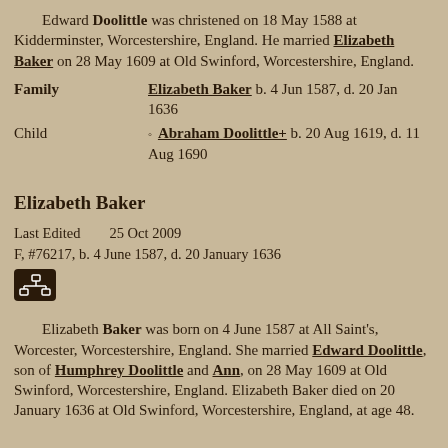Edward Doolittle was christened on 18 May 1588 at Kidderminster, Worcestershire, England. He married Elizabeth Baker on 28 May 1609 at Old Swinford, Worcestershire, England.
| Family | Elizabeth Baker b. 4 Jun 1587, d. 20 Jan 1636 |
| Child | ◦ Abraham Doolittle+ b. 20 Aug 1619, d. 11 Aug 1690 |
Elizabeth Baker
Last Edited   25 Oct 2009
F, #76217, b. 4 June 1587, d. 20 January 1636
[Figure (other): Small icon button with a hierarchy/org-chart symbol in white on dark brown background]
Elizabeth Baker was born on 4 June 1587 at All Saint's, Worcester, Worcestershire, England. She married Edward Doolittle, son of Humphrey Doolittle and Ann, on 28 May 1609 at Old Swinford, Worcestershire, England. Elizabeth Baker died on 20 January 1636 at Old Swinford, Worcestershire, England, at age 48.